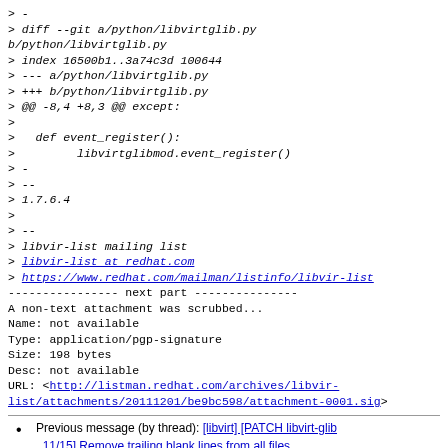> -
> diff --git a/python/libvirtglib.py b/python/libvirtglib.py
> index 16500b1..3a74c3d 100644
> --- a/python/libvirtglib.py
> +++ b/python/libvirtglib.py
> @@ -8,4 +8,3 @@ except:
>
>   def event_register():
>         libvirtglibmod.event_register()
> -
> --
> 1.7.6.4
>
> --
> libvir-list mailing list
> libvir-list at redhat.com
> https://www.redhat.com/mailman/listinfo/libvir-list
---------------- next part ---------------
A non-text attachment was scrubbed...
Name: not available
Type: application/pgp-signature
Size: 198 bytes
Desc: not available
URL: <http://listman.redhat.com/archives/libvir-list/attachments/20111201/be9bc598/attachment-0001.sig>
Previous message (by thread): [libvirt] [PATCH libvirt-glib 11/15] Remove trailing blank lines from all files